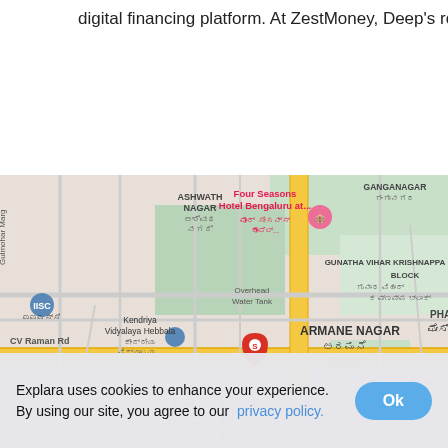digital financing platform. At ZestMoney, Deep's role
[Figure (map): Google Maps view of Bengaluru area showing IISC, Ashwath Nagar, Four Seasons Hotel Bengaluru, Gunatha Vihar Krishnappa Block, Kendriya Vidyalaya Hebbala, Armane Nagar, Raj Mahal Vilas Extension, CV Raman Rd, with a red marker labeled S on the map.]
Explara uses cookies to enhance your experience. By using our site, you agree to our privacy policy.